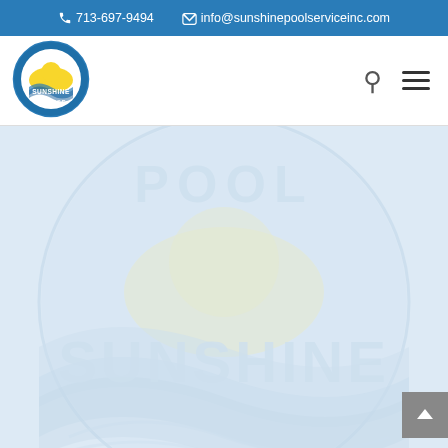713-697-9494  info@sunshinepoolserviceinc.com
[Figure (logo): Sunshine Pool Service Inc. circular logo with sun and wave design]
[Figure (illustration): Large faded watermark version of the Sunshine Pool Service logo showing POOL text at top, SUNSHINE text in center, with sun and wave illustration, on a light blue background]